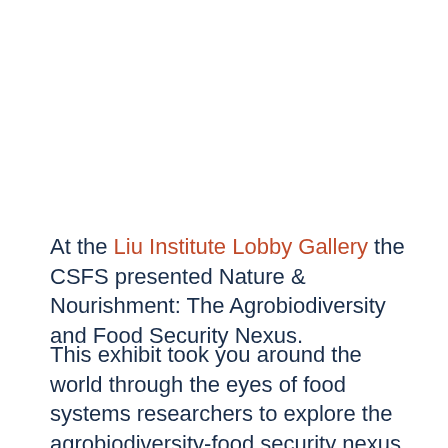At the Liu Institute Lobby Gallery the CSFS presented Nature & Nourishment: The Agrobiodiversity and Food Security Nexus.
This exhibit took you around the world through the eyes of food systems researchers to explore the agrobiodiversity-food security nexus. In photographs from Asia, Africa, and the Americas, two key messages emerge from the images. The first is one of concern and warning. Agricultural